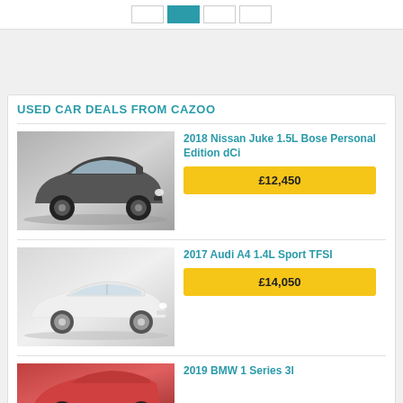[Figure (screenshot): Pagination bar with active teal button and surrounding grey/white boxes]
USED CAR DEALS FROM CAZOO
[Figure (photo): Grey Nissan Juke SUV on grey background]
2018 Nissan Juke 1.5L Bose Personal Edition dCi
£12,450
[Figure (photo): White Audi A4 saloon on grey/white background]
2017 Audi A4 1.4L Sport TFSI
£14,050
[Figure (photo): Red BMW 1 Series partially visible at bottom of page]
2019 BMW 1 Series 3l